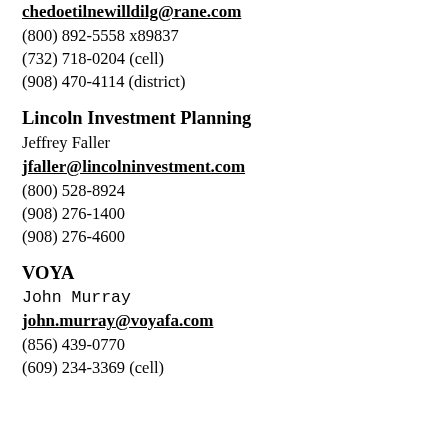chedoetilnewilldilg@rane.com
(800) 892-5558 x89837
(732) 718-0204 (cell)
(908) 470-4114 (district)
Lincoln Investment Planning
Jeffrey Faller
jfaller@lincolninvestment.com
(800) 528-8924
(908) 276-1400
(908) 276-4600
VOYA
John Murray
john.murray@voyafa.com
(856) 439-0770
(609) 234-3369 (cell)